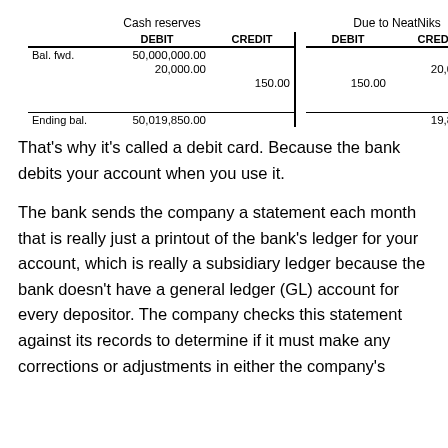|  | Cash reserves DEBIT | Cash reserves CREDIT | Due to NeatNiks DEBIT | Due to NeatNiks CREDIT |
| --- | --- | --- | --- | --- |
| Bal. fwd. | 50,000,000.00 |  |  | 0.00 |
|  | 20,000.00 |  |  | 20,000.00 |
|  |  | 150.00 | 150.00 |  |
| Ending bal. | 50,019,850.00 |  |  | 19,850.00 |
That's why it's called a debit card. Because the bank debits your account when you use it.
The bank sends the company a statement each month that is really just a printout of the bank's ledger for your account, which is really a subsidiary ledger because the bank doesn't have a general ledger (GL) account for every depositor. The company checks this statement against its records to determine if it must make any corrections or adjustments in either the company's